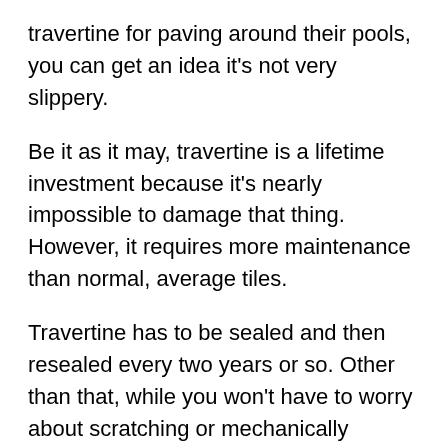travertine for paving around their pools, you can get an idea it's not very slippery.
Be it as it may, travertine is a lifetime investment because it's nearly impossible to damage that thing. However, it requires more maintenance than normal, average tiles.
Travertine has to be sealed and then resealed every two years or so. Other than that, while you won't have to worry about scratching or mechanically damaging it, travertine can actually stain, so you will have to be careful and sweep any spills right away.
Furthermore, travertine requires you to clean it with special stone cleaners, or soft detergents that